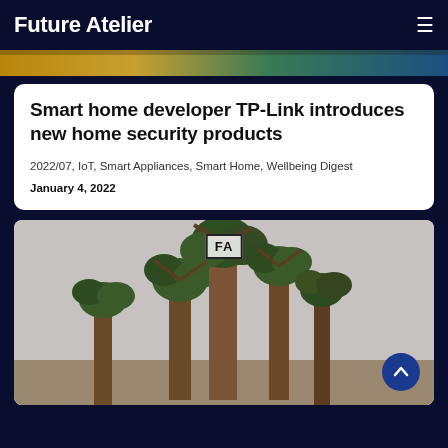Future Atelier
[Figure (photo): Top image strip showing outdoor scene with warm and cool tones]
Smart home developer TP-Link introduces new home security products
2022/07, IoT, Smart Appliances, Smart Home, Wellbeing Digest
January 4, 2022
[Figure (photo): Photo of tall baobab trees against a grey sky, with FA logo badge overlay and scroll-up button]